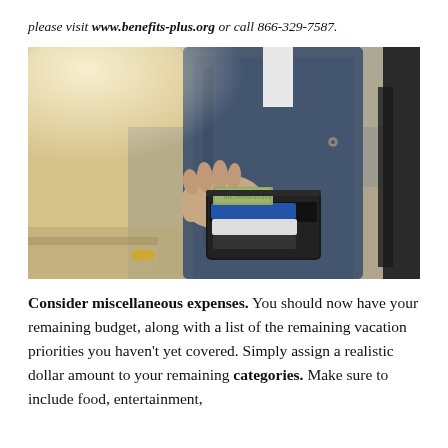please visit www.benefits-plus.org or call 866-329-7587.
[Figure (photo): A person in a denim jacket holding open a black leather wallet with cash and cards visible, standing outdoors on a concrete surface.]
Consider miscellaneous expenses. You should now have your remaining budget, along with a list of the remaining vacation priorities you haven't yet covered. Simply assign a realistic dollar amount to your remaining categories. Make sure to include food, entertainment,